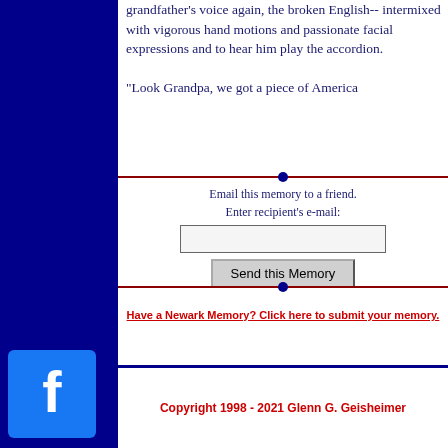grandfather's voice again, the broken English-- intermixed with vigorous hand motions and passionate facial expressions and to hear him play the accordion.

“Look Grandpa, we got a piece of America
[Figure (other): Horizontal decorative divider line with a dark red/maroon color and a dark blue/navy circle in the center]
Email this memory to a friend.
Enter recipient's e-mail:
Send this Memory
[Figure (other): Horizontal decorative divider line with a dark red/maroon color and a dark blue/navy circle in the center]
Have a Newark Memory? Click here to submit your memory.
Copyright 1998 - 2021 Glenn G. Geisheimer
[Figure (logo): Facebook logo icon - white letter F on blue square background]